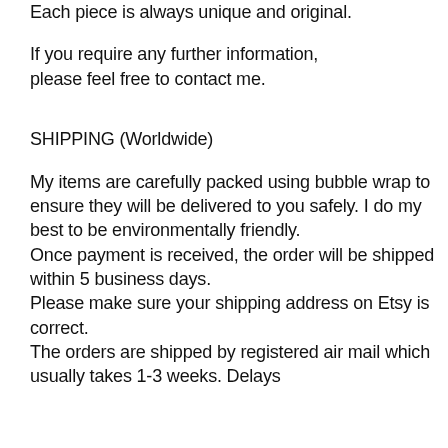Each piece is always unique and original.
If you require any further information, please feel free to contact me.
SHIPPING (Worldwide)
My items are carefully packed using bubble wrap to ensure they will be delivered to you safely. I do my best to be environmentally friendly.
Once payment is received, the order will be shipped within 5 business days.
Please make sure your shipping address on Etsy is correct.
The orders are shipped by registered air mail which usually takes 1-3 weeks. Delays